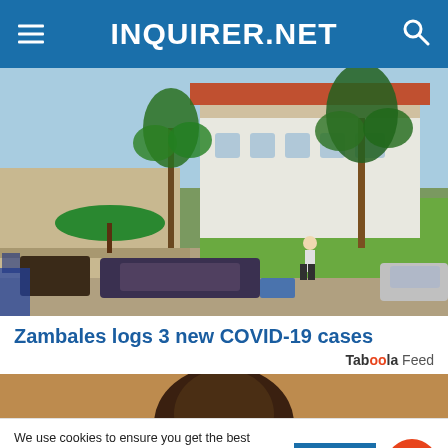INQUIRER.NET
[Figure (photo): Outdoor photo of a hospital or public building with palm trees, parked motorcycles/vehicles, a pedestrian, green umbrella stall, and a lawn in a Philippine town setting. A sign reading EMERGENCY is visible on the wall.]
Zambales logs 3 new COVID-19 cases
Taboola Feed
[Figure (photo): Partial image of a person's head seen from above, on sandy/earthy background — Taboola sponsored content thumbnail]
We use cookies to ensure you get the best experience on our website. By continuing, you are agreeing to our use of cookies. To find out more, please click this link.